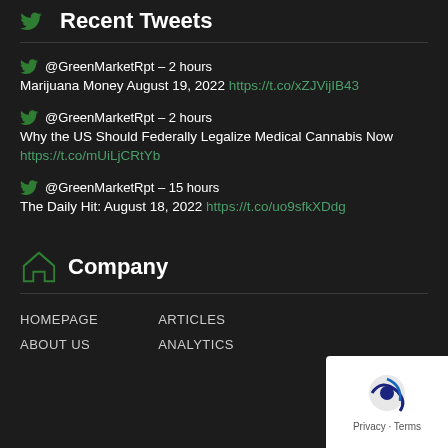Recent Tweets
@GreenMarketRpt – 2 hours
Marijuana Money August 19, 2022 https://t.co/xZJVijIB43
@GreenMarketRpt – 2 hours
Why the US Should Federally Legalize Medical Cannabis Now https://t.co/mUiLjCRtYb
@GreenMarketRpt – 15 hours
The Daily Hit: August 18, 2022 https://t.co/uo9sfkXDdg
Company
HOMEPAGE
ARTICLES
ABOUT US
ANALYTICS